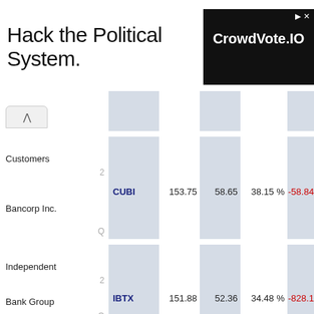[Figure (screenshot): Advertisement banner: 'Hack the Political System.' with CrowdVote.IO logo in black box]
| Company | Ticker | Price | Val | Pct | Chg |
| --- | --- | --- | --- | --- | --- |
| Customers Bancorp Inc. | CUBI | 153.75 | 58.65 | 38.15 % | -58.84 |
| Independent Bank Group Inc. | IBTX | 151.88 | 52.36 | 34.48 % | -828.13 |
| Great Western | GWB | 149.38 | 51.89 | 34.74 % | -204.09 |